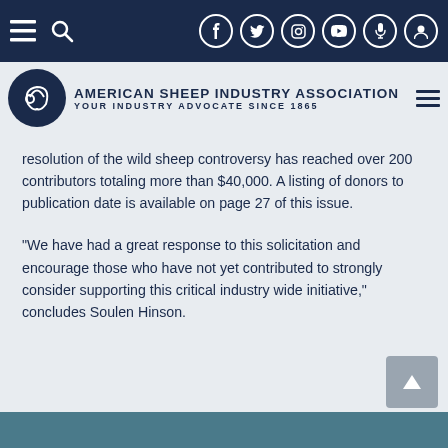American Sheep Industry Association — YOUR INDUSTRY ADVOCATE SINCE 1865
resolution of the wild sheep controversy has reached over 200 contributors totaling more than $40,000. A listing of donors to publication date is available on page 27 of this issue.
“We have had a great response to this solicitation and encourage those who have not yet contributed to strongly consider supporting this critical industry wide initiative,” concludes Soulen Hinson.